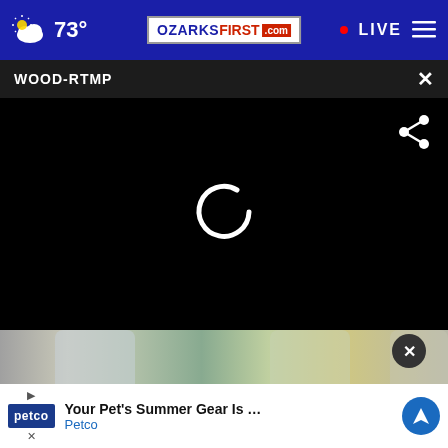73° | OZARKSFIRST.com | LIVE
WOOD-RTMP
[Figure (screenshot): Black video player area with loading spinner and share icon]
[Figure (photo): Glass bottles/jars photo in background]
Your Pet's Summer Gear Is Here Petco